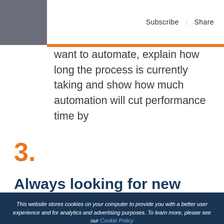Subscribe | Share
want to automate, explain how long the process is currently taking and show how much automation will cut performance time by
3.
Always looking for new business value
This website stores cookies on your computer to provide you with a better user experience and for analytics and advertising purposes. To learn more, please see our Cookie Policy
If you decline, your information won't be tracked when you visit this website. A single cookie will be used in your browser to remember your preference not to be tracked.